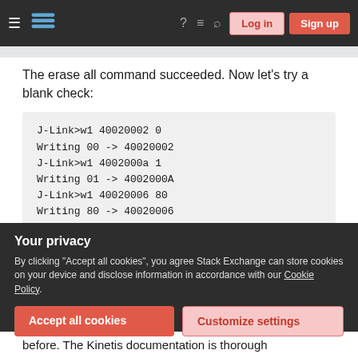Stack Exchange navigation bar with Log in and Sign up buttons
The erase all command succeeded. Now let's try a blank check:
J-Link>w1 40020002 0
Writing 00 -> 40020002
J-Link>w1 4002000a 1
Writing 01 -> 4002000A
J-Link>w1 40020006 80
Writing 80 -> 40020006
J-Link>mem8 40020006 1
40020006 = 80
Your privacy
By clicking "Accept all cookies", you agree Stack Exchange can store cookies on your device and disclose information in accordance with our Cookie Policy.
before. The Kinetis documentation is thorough